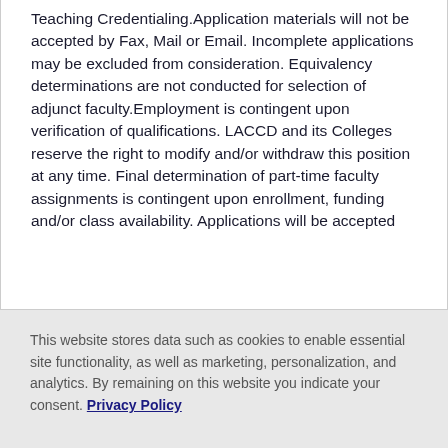Teaching Credentialing.Application materials will not be accepted by Fax, Mail or Email. Incomplete applications may be excluded from consideration. Equivalency determinations are not conducted for selection of adjunct faculty.Employment is contingent upon verification of qualifications. LACCD and its Colleges reserve the right to modify and/or withdraw this position at any time. Final determination of part-time faculty assignments is contingent upon enrollment, funding and/or class availability. Applications will be accepted
This website stores data such as cookies to enable essential site functionality, as well as marketing, personalization, and analytics. By remaining on this website you indicate your consent. Privacy Policy